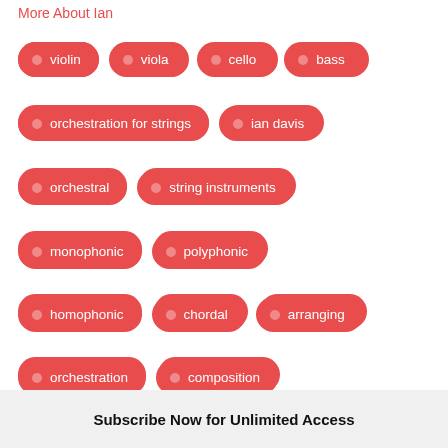More About Ian
violin
viola
cello
bass
orchestration for strings
ian davis
orchestral
string instruments
monophonic
polyphonic
homophonic
chordal
arranging
orchestration
composition
theory
Subscribe Now for Unlimited Access